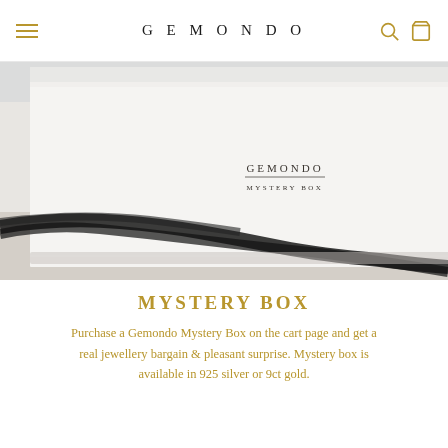GEMONDO
[Figure (photo): A white Gemondo Mystery Box with a grey lid panel and black satin ribbon, photographed on a light surface. The box is printed with 'GEMONDO' and 'MYSTERY BOX' on the front.]
MYSTERY BOX
Purchase a Gemondo Mystery Box on the cart page and get a real jewellery bargain & pleasant surprise. Mystery box is available in 925 silver or 9ct gold.